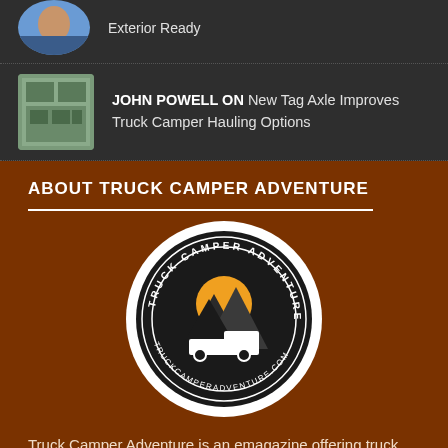Exterior Ready
[Figure (photo): Avatar photo of a person wearing blue]
JOHN POWELL ON New Tag Axle Improves Truck Camper Hauling Options
[Figure (photo): Thumbnail photo of a building/store]
ABOUT TRUCK CAMPER ADVENTURE
[Figure (logo): Truck Camper Adventure circular logo with mountains and truck silhouette, website truckcamperadventure.com]
Truck Camper Adventure is an emagazine offering truck camper news, reviews, travel tips, and more. We cover all types of truck campers here at Truck Camper Adventure. It